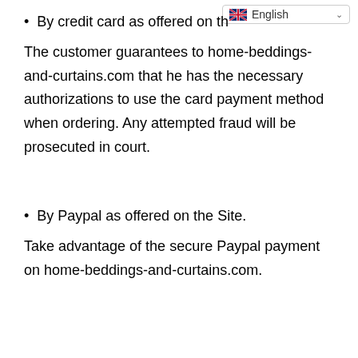By credit card as offered on th…
The customer guarantees to home-beddings-and-curtains.com that he has the necessary authorizations to use the card payment method when ordering. Any attempted fraud will be prosecuted in court.
By Paypal as offered on the Site.
Take advantage of the secure Paypal payment on home-beddings-and-curtains.com.
9 - Default of payment - Retention of title